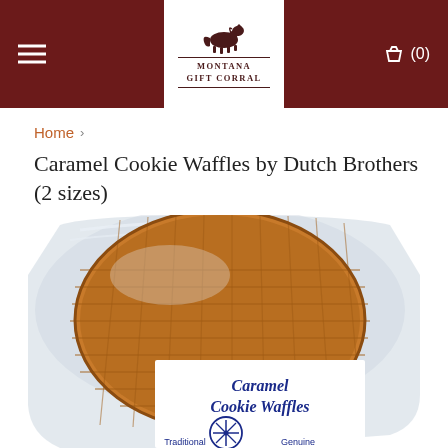Montana Gift Corral — navigation header with hamburger menu and cart
Home  >
Caramel Cookie Waffles by Dutch Brothers (2 sizes)
[Figure (photo): A packaged Caramel Cookie Waffle (stroopwafel) in clear plastic wrapping, with a white label reading 'Caramel Cookie Waffles' in blue script letters, showing a traditional windmill logo. Text at bottom reads 'Traditional' and 'Genuine'.]